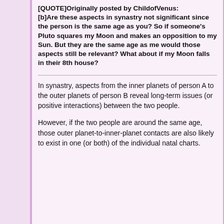[QUOTE]Originally posted by ChildofVenus:
[b]Are these aspects in synastry not significant since the person is the same age as you? So if someone's Pluto squares my Moon and makes an opposition to my Sun. But they are the same age as me would those aspects still be relevant? What about if my Moon falls in their 8th house?
In synastry, aspects from the inner planets of person A to the outer planets of person B reveal long-term issues (or positive interactions) between the two people.
However, if the two people are around the same age, those outer planet-to-inner-planet contacts are also likely to exist in one (or both) of the individual natal charts. And the fact that it runs the same with...